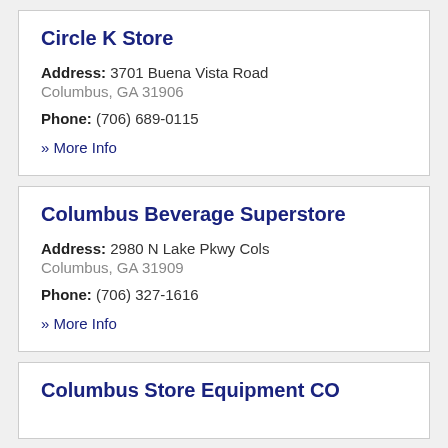Circle K Store
Address: 3701 Buena Vista Road Columbus, GA 31906
Phone: (706) 689-0115
» More Info
Columbus Beverage Superstore
Address: 2980 N Lake Pkwy Cols Columbus, GA 31909
Phone: (706) 327-1616
» More Info
Columbus Store Equipment CO